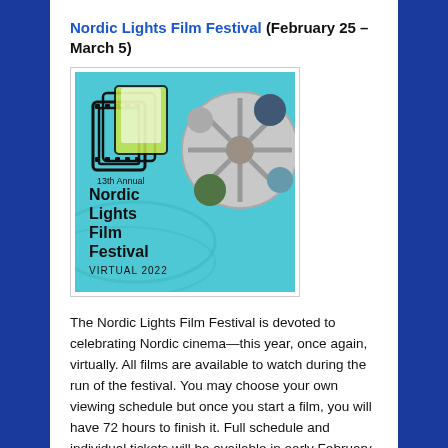Nordic Lights Film Festival (February 25 – March 5)
[Figure (illustration): 13th Annual Nordic Lights Film Festival Virtual 2022 promotional poster with film reel graphic and cyan/teal background]
The Nordic Lights Film Festival is devoted to celebrating Nordic cinema—this year, once again, virtually. All films are available to watch during the run of the festival. You may choose your own viewing schedule but once you start a film, you will have 72 hours to finish it. Full schedule and individual tickets will be available in early February. Some of the feature films have been geo-blocked by their production companies and will only be viewable in Washington State.